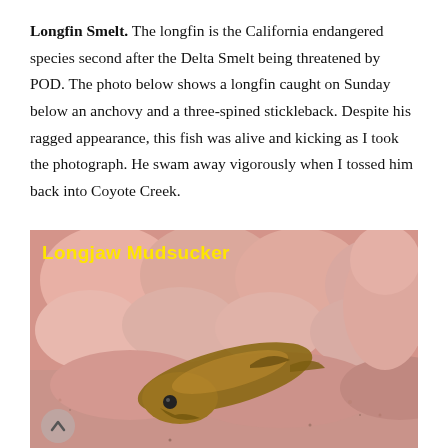Longfin Smelt. The longfin is the California endangered species second after the Delta Smelt being threatened by POD. The photo below shows a longfin caught on Sunday below an anchovy and a three-spined stickleback. Despite his ragged appearance, this fish was alive and kicking as I took the photograph. He swam away vigorously when I tossed him back into Coyote Creek.
[Figure (photo): Close-up photo of a small fish (Longjaw Mudsucker) held in a person's hand. The fish appears brownish-amber colored and is being held between fingers. Yellow bold text 'Longjaw Mudsucker' is overlaid at the top left of the photo. A small circular scroll/navigation button is visible at bottom left.]